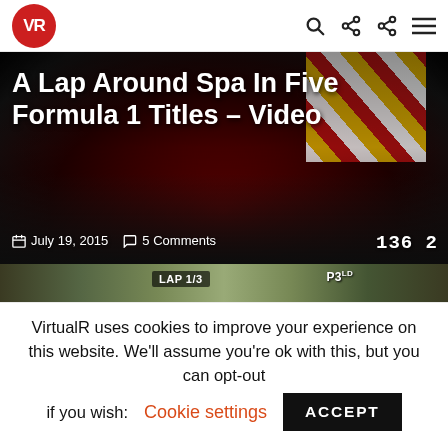VR (logo) — navigation bar with search, share, and menu icons
[Figure (screenshot): Hero image of a Formula 1 car cockpit view on the Spa circuit, with title overlay 'A Lap Around Spa In Five Formula 1 Titles – Video', date 'July 19, 2015', and '5 Comments']
A Lap Around Spa In Five Formula 1 Titles – Video
July 19, 2015   5 Comments
[Figure (screenshot): Partial screenshot of a racing game showing 'LAP 1/3' and 'P3' HUD elements over a green track environment]
VirtualR uses cookies to improve your experience on this website. We'll assume you're ok with this, but you can opt-out if you wish:
Cookie settings
ACCEPT